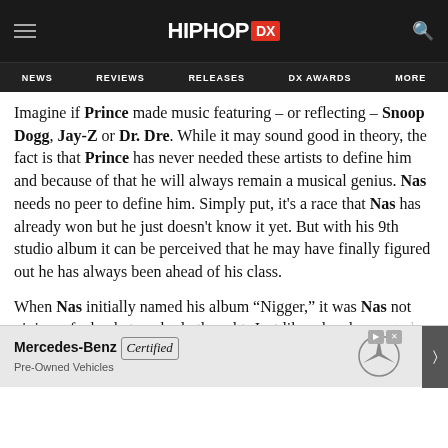HipHopDX — NEWS | REVIEWS | RELEASES | DX AWARDS | MORE
Imagine if Prince made music featuring – or reflecting – Snoop Dogg, Jay-Z or Dr. Dre. While it may sound good in theory, the fact is that Prince has never needed these artists to define him and because of that he will always remain a musical genius. Nas needs no peer to define him. Simply put, it's a race that Nas has already won but he just doesn't know it yet. But with his 9th studio album it can be perceived that he may have finally figured out he has always been ahead of his class.
When Nas initially named his album “Nigger,” it was Nas not giving a fuck what anybody thought. Just like when he cre[ated Illmatic, he wasn’t making it because he] wante[d to...]